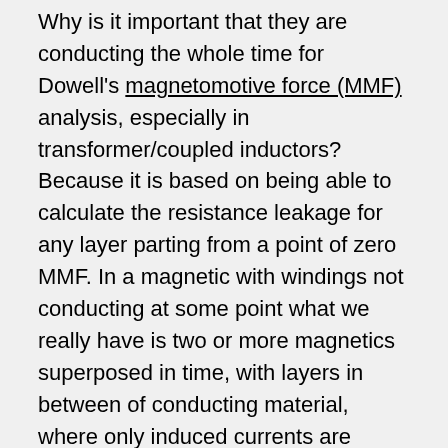Why is it important that they are conducting the whole time for Dowell's magnetomotive force (MMF) analysis, especially in transformer/coupled inductors? Because it is based on being able to calculate the resistance leakage for any layer parting from a point of zero MMF. In a magnetic with windings not conducting at some point what we really have is two or more magnetics superposed in time, with layers in between of conducting material, where only induced currents are circulating and generating losses.
The reason for my rant about applying Dowell's method on these kinds of magnetics is not so much a philosophical reason as much as an engineering one. When we ignore the conducting state of each winding and apply Dowell's equations, the values extracted from the MMF graphs are calculated assuming the H